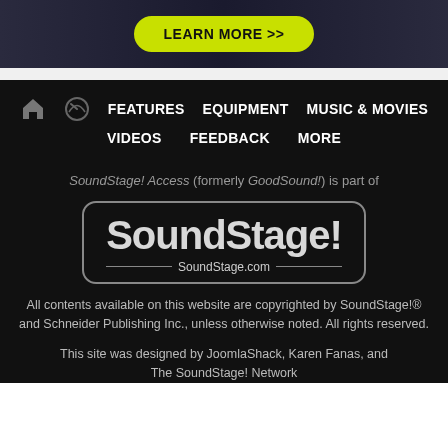[Figure (screenshot): Top banner with dark background and a yellow-green 'LEARN MORE >>' button with rounded pill border]
FEATURES   EQUIPMENT   MUSIC & MOVIES   VIDEOS   FEEDBACK   MORE
SoundStage! Access (formerly GoodSound!) is part of
[Figure (logo): SoundStage! logo in a rounded rectangle border showing 'SoundStage!' in large bold text with 'SoundStage.com' below with horizontal lines on each side]
All contents available on this website are copyrighted by SoundStage!® and Schneider Publishing Inc., unless otherwise noted. All rights reserved.
This site was designed by JoomlaShack, Karen Fanas, and The SoundStage! Network